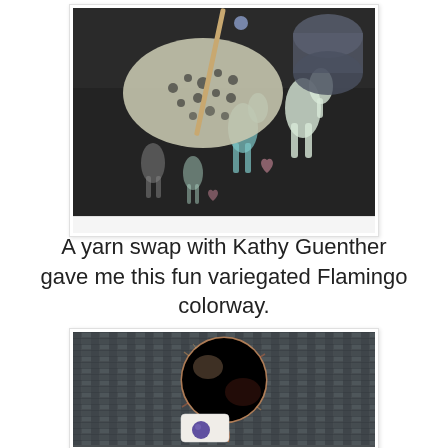[Figure (photo): Photo of a dark fabric project bag featuring llama/alpaca print design with teal and white animal silhouettes on dark background, with a lace knitting piece and wooden knitting needle visible on top.]
A yarn swap with Kathy Guenther gave me this fun variegated Flamingo colorway.
[Figure (photo): Photo of a ball of variegated orange, peach, and red yarn (Flamingo colorway) sitting on a dark woven basket/surface, with a small white yarn label with a purple circle logo visible in front.]